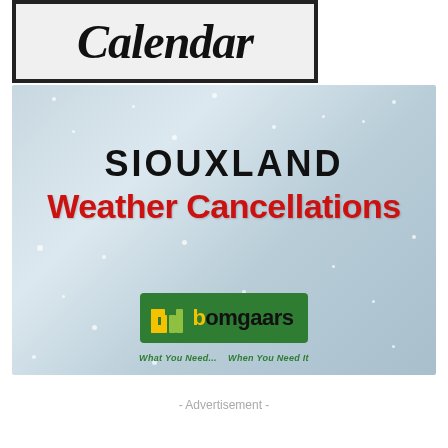[Figure (logo): Calendar logo in a black-bordered box with italic bold serif text reading 'Calendar']
[Figure (infographic): Siouxland Weather Cancellations banner with snowy background. Text: 'SIOUXLAND' in black bold, 'Weather Cancellations' in large red bold. Bomgaars logo at bottom with green background, tagline 'What You Need... When You Need It']
- Advertisement -